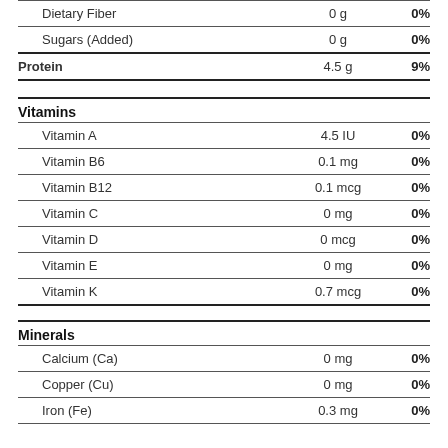| Nutrient | Amount | % DV |
| --- | --- | --- |
| Dietary Fiber | 0 g | 0% |
| Sugars (Added) | 0 g | 0% |
| Protein | 4.5 g | 9% |
| Vitamins |  |  |
| Vitamin A | 4.5 IU | 0% |
| Vitamin B6 | 0.1 mg | 0% |
| Vitamin B12 | 0.1 mcg | 0% |
| Vitamin C | 0 mg | 0% |
| Vitamin D | 0 mcg | 0% |
| Vitamin E | 0 mg | 0% |
| Vitamin K | 0.7 mcg | 0% |
| Minerals |  |  |
| Calcium (Ca) | 0 mg | 0% |
| Copper (Cu) | 0 mg | 0% |
| Iron (Fe) | 0.3 mg | 0% |